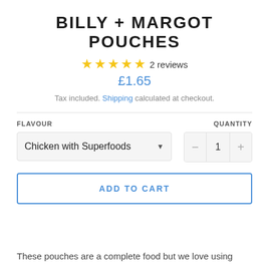BILLY + MARGOT POUCHES
★★★★★ 2 reviews
£1.65
Tax included. Shipping calculated at checkout.
FLAVOUR
QUANTITY
Chicken with Superfoods
1
ADD TO CART
These pouches are a complete food but we love using